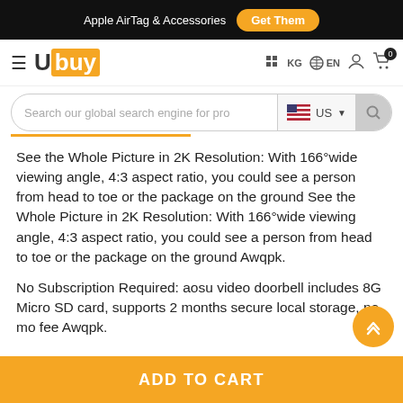Apple AirTag & Accessories  Get Them
[Figure (logo): Ubuy logo with hamburger menu, KG country selector, EN language selector, account icon, cart icon with badge 0]
[Figure (screenshot): Search bar with placeholder 'Search our global search engine for pro', US flag country selector, and search button]
See the Whole Picture in 2K Resolution: With 166°wide viewing angle, 4:3 aspect ratio, you could see a person from head to toe or the package on the ground See the Whole Picture in 2K Resolution: With 166°wide viewing angle, 4:3 aspect ratio, you could see a person from head to toe or the package on the ground Awqpk.
No Subscription Required: aosu video doorbell includes 8G Micro SD card, supports 2 months secure local storage, no mo fee Awqpk.
ADD TO CART